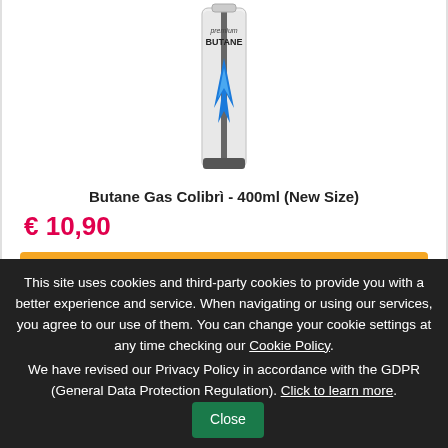[Figure (photo): Butane gas canister with blue flame logo and 'premium BUTANE' text on label]
Butane Gas Colibrì - 400ml (New Size)
€ 10,90
ADD TO CART
This site uses cookies and third-party cookies to provide you with a better experience and service. When navigating or using our services, you agree to our use of them. You can change your cookie settings at any time checking our Cookie Policy. We have revised our Privacy Policy in accordance with the GDPR (General Data Protection Regulation). Click to learn more. Close